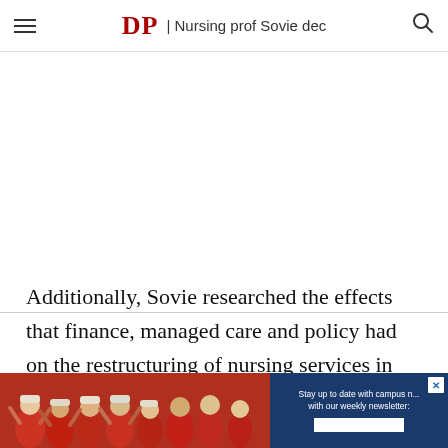DP | Nursing prof Sovie dec
[Figure (other): White advertisement space placeholder]
Additionally, Sovie researched the effects that finance, managed care and policy had on the restructuring of nursing services in different teaching hospitals.
[Figure (infographic): Bottom advertisement banner with crowd photo and newsletter signup box reading: Stay up to date with campus news with our weekly newsletter:]